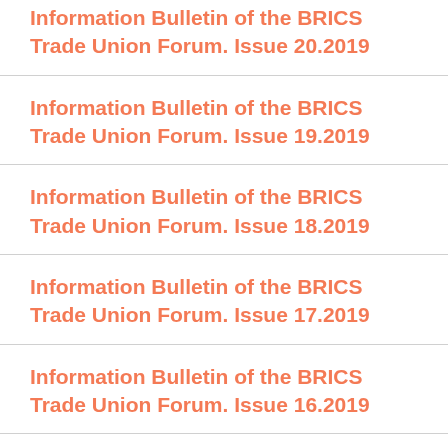Information Bulletin of the BRICS Trade Union Forum. Issue 20.2019
Information Bulletin of the BRICS Trade Union Forum. Issue 19.2019
Information Bulletin of the BRICS Trade Union Forum. Issue 18.2019
Information Bulletin of the BRICS Trade Union Forum. Issue 17.2019
Information Bulletin of the BRICS Trade Union Forum. Issue 16.2019
Information Bulletin of the BRICS Trade Union Forum. Issue 15.2019